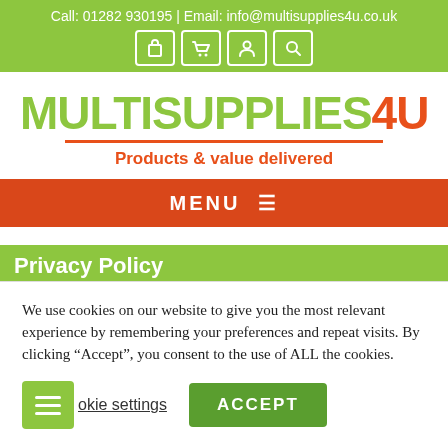Call: 01282 930195 | Email: info@multisupplies4u.co.uk
MULTISUPPLIES4U
Products & value delivered
MENU
Privacy Policy
We use cookies on our website to give you the most relevant experience by remembering your preferences and repeat visits. By clicking “Accept”, you consent to the use of ALL the cookies.
Cookie settings  ACCEPT